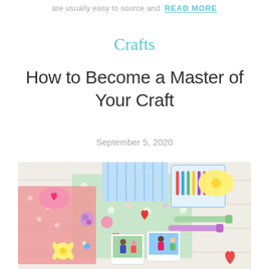are usually easy to source and READ MORE
Crafts
How to Become a Master of Your Craft
September 5, 2020
[Figure (photo): Flat lay of colorful craft supplies on a table including patterned papers, punch tools, pom poms, markers, heart shapes, and polaroid photos]